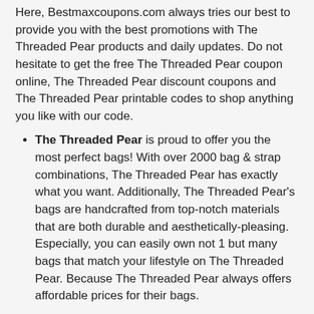Here, Bestmaxcoupons.com always tries our best to provide you with the best promotions with The Threaded Pear products and daily updates. Do not hesitate to get the free The Threaded Pear coupon online, The Threaded Pear discount coupons and The Threaded Pear printable codes to shop anything you like with our code.
The Threaded Pear is proud to offer you the most perfect bags! With over 2000 bag & strap combinations, The Threaded Pear has exactly what you want. Additionally, The Threaded Pear's bags are handcrafted from top-notch materials that are both durable and aesthetically-pleasing. Especially, you can easily own not 1 but many bags that match your lifestyle on The Threaded Pear. Because The Threaded Pear always offers affordable prices for their bags.
You will appear more prominent when wearing a unique bag. Come to The Threaded Pear to shop now!
Some of their bestsellers: Becki Tote, Carry-All